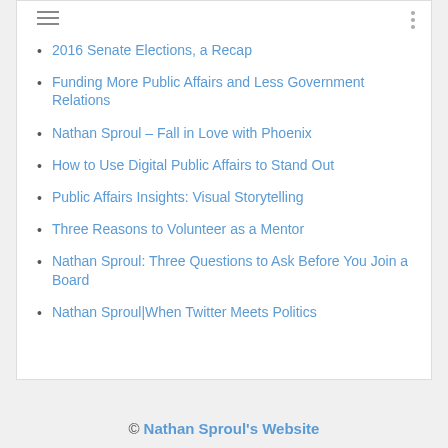2016 Senate Elections, a Recap
Funding More Public Affairs and Less Government Relations
Nathan Sproul – Fall in Love with Phoenix
How to Use Digital Public Affairs to Stand Out
Public Affairs Insights: Visual Storytelling
Three Reasons to Volunteer as a Mentor
Nathan Sproul: Three Questions to Ask Before You Join a Board
Nathan Sproul|When Twitter Meets Politics
© Nathan Sproul's Website